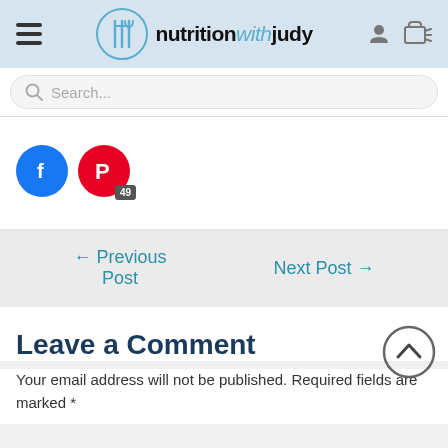nutritionwithjudy
Search...
[Figure (other): Facebook and Pinterest social share buttons; Pinterest shows badge count of 49]
← Previous Post   Next Post →
Leave a Comment
Your email address will not be published. Required fields are marked *